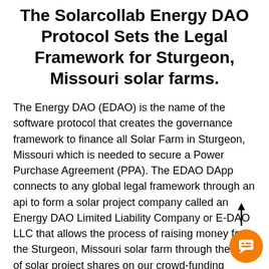The Solarcollab Energy DAO Protocol Sets the Legal Framework for Sturgeon, Missouri solar farms.
The Energy DAO (EDAO) is the name of the software protocol that creates the governance framework to finance all Solar Farm in Sturgeon, Missouri which is needed to secure a Power Purchase Agreement (PPA). The EDAO DApp connects to any global legal framework through an api to form a solar project company called an Energy DAO Limited Liability Company or E-DAO LLC that allows the process of raising money for the Sturgeon, Missouri solar farm through the sale of solar project shares on our crowd-funding portal. Solarcollab calls these shares; Membership Ownership Units (MOUs